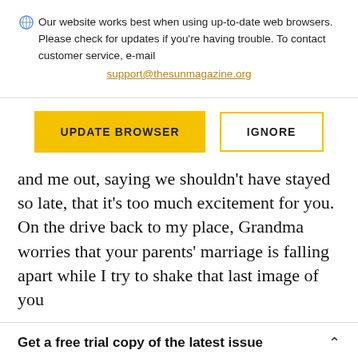Our website works best when using up-to-date web browsers. Please check for updates if you're having trouble. To contact customer service, e-mail support@thesunmagazine.org
[Figure (other): Two buttons: a filled yellow 'UPDATE BROWSER' button and an outlined yellow 'IGNORE' button]
and me out, saying we shouldn't have stayed so late, that it's too much excitement for you. On the drive back to my place, Grandma worries that your parents' marriage is falling apart while I try to shake that last image of you
Get a free trial copy of the latest issue